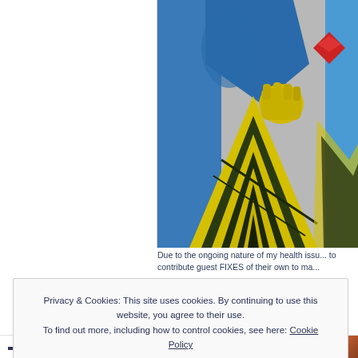[Figure (illustration): Colorful street mural artwork showing stylized insect or creature wings in yellow and dark green/black chevron patterns against blue background with red accent, painted graffiti style]
Due to the ongoing nature of my health issu... to contribute guest FIXES of their own to ma...
Privacy & Cookies: This site uses cookies. By continuing to use this website, you agree to their use.
To find out more, including how to control cookies, see here: Cookie Policy
Close and accept